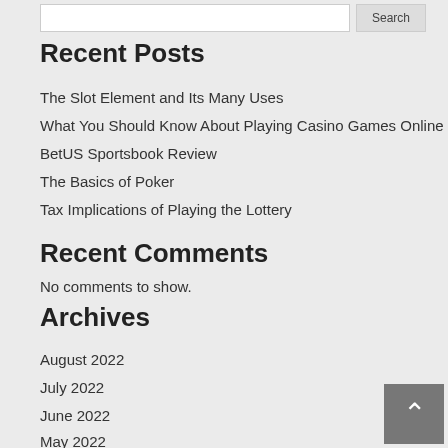Recent Posts
The Slot Element and Its Many Uses
What You Should Know About Playing Casino Games Online
BetUS Sportsbook Review
The Basics of Poker
Tax Implications of Playing the Lottery
Recent Comments
No comments to show.
Archives
August 2022
July 2022
June 2022
May 2022